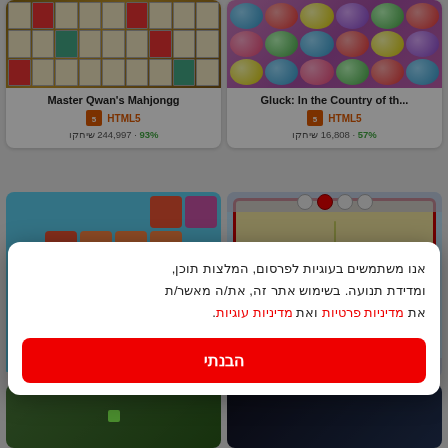[Figure (screenshot): Game card thumbnail: Master Qwan's Mahjongg tile game]
Master Qwan's Mahjongg
HTML5 · 244,997 שיחקו · 93%
[Figure (screenshot): Game card thumbnail: Gluck: In the Country of th...]
Gluck: In the Country of th...
HTML5 · 16,808 שיחקו · 57%
[Figure (screenshot): Colorful block puzzle game thumbnail]
[Figure (screenshot): Christmas gingerbread themed game thumbnail]
אנו משתמשים בעוגיות לפרסום, המלצות תוכן, ומדידת תנועה. בשימוש אתר זה, את/ה מאשר/ת את מדיניות פרטיות ואת מדיניות עוגיות.
הבנתי